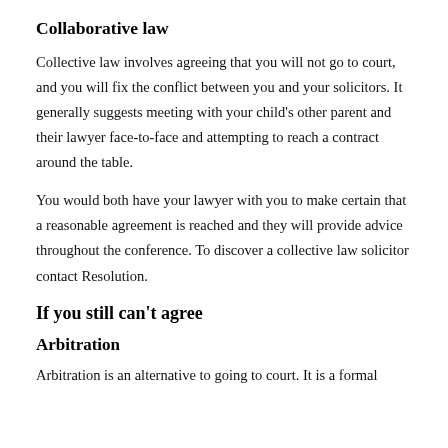Collaborative law
Collective law involves agreeing that you will not go to court, and you will fix the conflict between you and your solicitors. It generally suggests meeting with your child’s other parent and their lawyer face-to-face and attempting to reach a contract around the table.
You would both have your lawyer with you to make certain that a reasonable agreement is reached and they will provide advice throughout the conference. To discover a collective law solicitor contact Resolution.
If you still can’t agree
Arbitration
Arbitration is an alternative to going to court. It is a formal